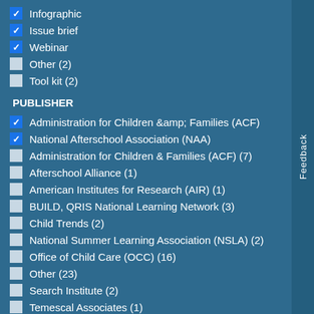✓ Infographic
✓ Issue brief
✓ Webinar
☐ Other (2)
☐ Tool kit (2)
PUBLISHER
✓ Administration for Children &amp; Families (ACF)
✓ National Afterschool Association (NAA)
☐ Administration for Children & Families (ACF) (7)
☐ Afterschool Alliance (1)
☐ American Institutes for Research (AIR) (1)
☐ BUILD, QRIS National Learning Network (3)
☐ Child Trends (2)
☐ National Summer Learning Association (NSLA) (2)
☐ Office of Child Care (OCC) (16)
☐ Other (23)
☐ Search Institute (2)
☐ Temescal Associates (1)